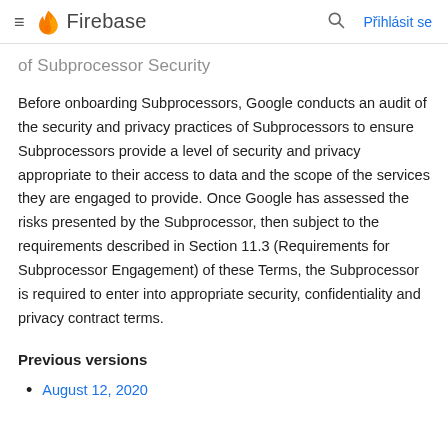Firebase  Přihlásit se
of Subprocessor Security
Before onboarding Subprocessors, Google conducts an audit of the security and privacy practices of Subprocessors to ensure Subprocessors provide a level of security and privacy appropriate to their access to data and the scope of the services they are engaged to provide. Once Google has assessed the risks presented by the Subprocessor, then subject to the requirements described in Section 11.3 (Requirements for Subprocessor Engagement) of these Terms, the Subprocessor is required to enter into appropriate security, confidentiality and privacy contract terms.
Previous versions
August 12, 2020